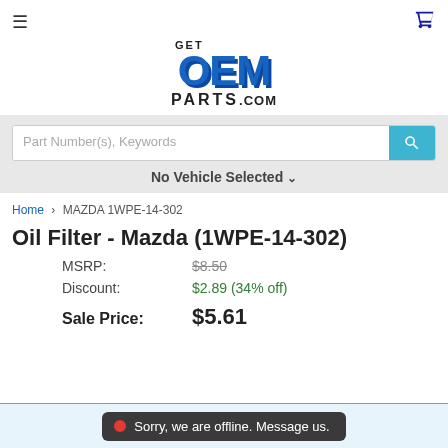[Figure (logo): GetOEMparts.com logo with blue OEM text and dark GET PARTS.COM text]
[Figure (screenshot): Search bar with 'Part Number(s), Keywords' placeholder and teal search button]
No Vehicle Selected ▾
Home › MAZDA 1WPE-14-302
Oil Filter - Mazda (1WPE-14-302)
MSRP: $8.50
Discount: $2.89 (34% off)
Sale Price: $5.61
Sorry, we are offline. Message us.